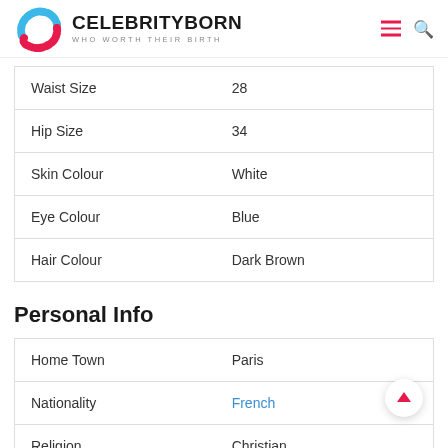CELEBRITYBORN WHO WORTH THEIR BIRTH
| Waist Size | 28 |
| Hip Size | 34 |
| Skin Colour | White |
| Eye Colour | Blue |
| Hair Colour | Dark Brown |
Personal Info
| Home Town | Paris |
| Nationality | French |
| Religion | Christian |